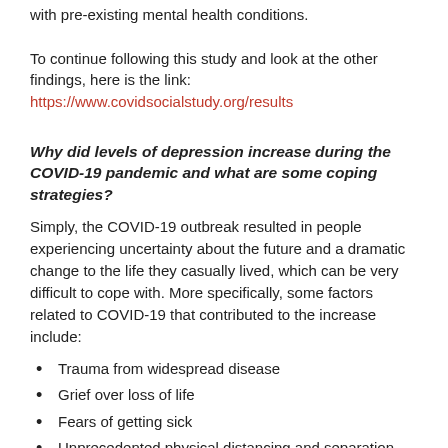with pre-existing mental health conditions.

To continue following this study and look at the other findings, here is the link: https://www.covidsocialstudy.org/results
Why did levels of depression increase during the COVID-19 pandemic and what are some coping strategies?
Simply, the COVID-19 outbreak resulted in people experiencing uncertainty about the future and a dramatic change to the life they casually lived, which can be very difficult to cope with. More specifically, some factors related to COVID-19 that contributed to the increase include:
Trauma from widespread disease
Grief over loss of life
Fears of getting sick
Unprecedented physical distancing and separation from family and friends
Financial concerns, especially in those whose lost their jobs or housing